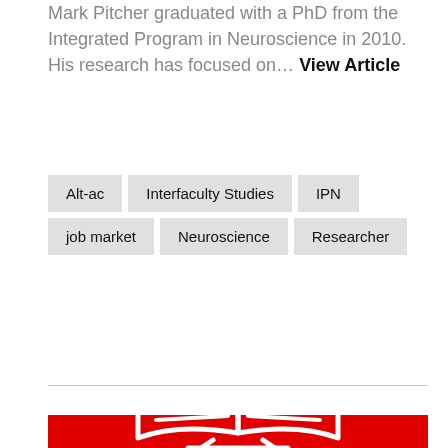Mark Pitcher graduated with a PhD from the Integrated Program in Neuroscience in 2010. His research has focused on... View Article
Alt-ac
Interfaculty Studies
IPN
job market
Neuroscience
Researcher
[Figure (illustration): Red background with white open book icon at bottom]